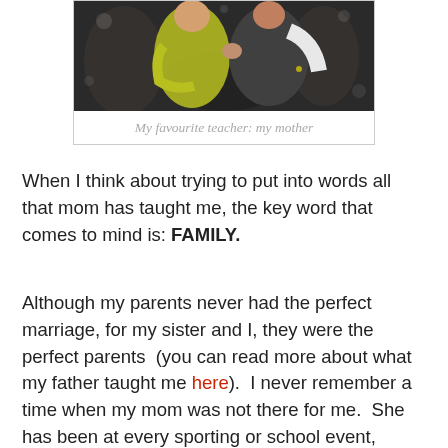[Figure (photo): A couple dancing; woman in yellow-green dress, man in dark vest and white shirt.]
My favourite teacher: my mother
When I think about trying to put into words all that mom has taught me, the key word that comes to mind is: FAMILY.
Although my parents never had the perfect marriage, for my sister and I, they were the perfect parents  (you can read more about what my father taught me here).  I never remember a time when my mom was not there for me.  She has been at every sporting or school event, family barbecue, birthday party, and special occasion.